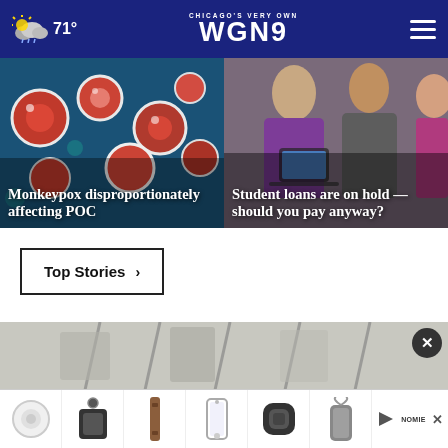CHICAGO'S VERY OWN WGN9 — 71°
[Figure (photo): Monkeypox virus particles under microscope, red circular shapes on blue background, with text overlay: Monkeypox disproportionately affecting POC]
[Figure (photo): Young adults looking at laptop/documents, with text overlay: Student loans are on hold — should you pay anyway?]
Top Stories ›
[Figure (photo): Advertisement banner showing phone accessories (round case, key fob, leather strap, phone case, earbuds case, phone lanyard) with close button and brand logo NOMIE]
[Figure (photo): Partially visible bottom image]